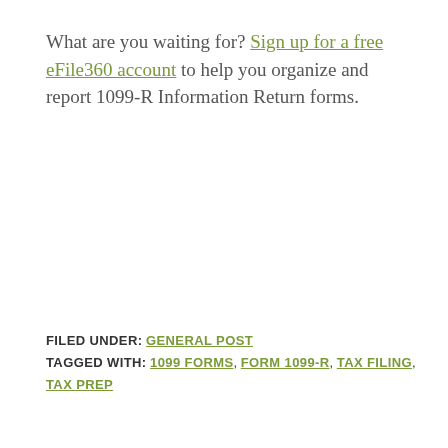What are you waiting for? Sign up for a free eFile360 account to help you organize and report 1099-R Information Return forms.
FILED UNDER: GENERAL POST TAGGED WITH: 1099 FORMS, FORM 1099-R, TAX FILING, TAX PREP